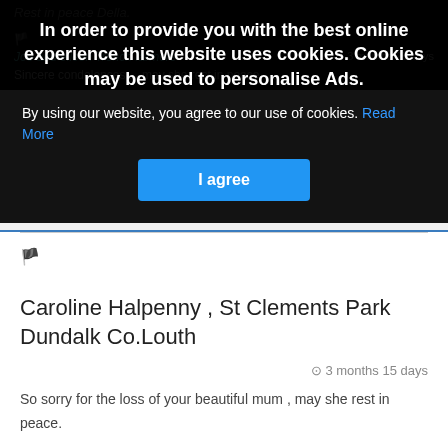Rest in peace Della.
In order to provide you with the best online experience this website uses cookies. Cookies may be used to personalise Ads.
By using our website, you agree to our use of cookies. Read More
I agree
Joe and eileen Trench farmore
3 months 25 days
Sincere condolences ... may she rest in peace.
Caroline Halpenny , St Clements Park Dundalk Co.Louth
3 months 15 days
So sorry for the loss of your beautiful mum , may she rest in peace.
Caroline & Allen